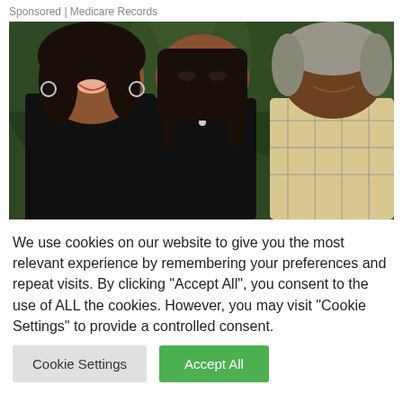Sponsored | Medicare Records
[Figure (photo): A family photo showing three people smiling together outdoors in front of a tree. A woman on the left with dark hair and hoop earrings wearing a black top, a young woman in the center with long dark hair and a silver necklace, and a man on the right with gray hair wearing a plaid shirt.]
We use cookies on our website to give you the most relevant experience by remembering your preferences and repeat visits. By clicking "Accept All", you consent to the use of ALL the cookies. However, you may visit "Cookie Settings" to provide a controlled consent.
Cookie Settings
Accept All